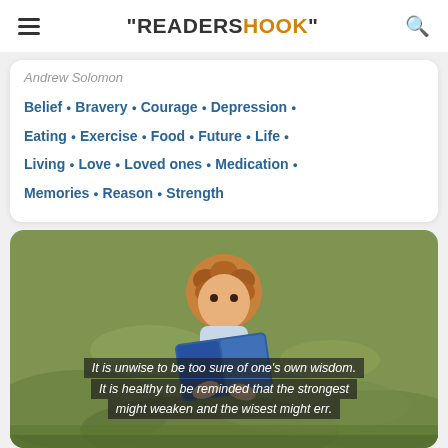"READERSHOOK"
Andrew Solomon
Belief • Bravery • Courage • Depression • Eating • Exercise • Food • Future • Life • Living • Love • Loved ones • Medication • Memories • Reason • Strength
[Figure (photo): A young red-haired toddler lying on grass reading/holding an open book, with a quote overlay reading: It is unwise to be too sure of one's own wisdom. It is healthy to be reminded that the strongest might weaken and the wisest might err.]
It is unwise to be too sure of one's own wisdom. It is healthy to be reminded that the strongest might weaken and the wisest might err.